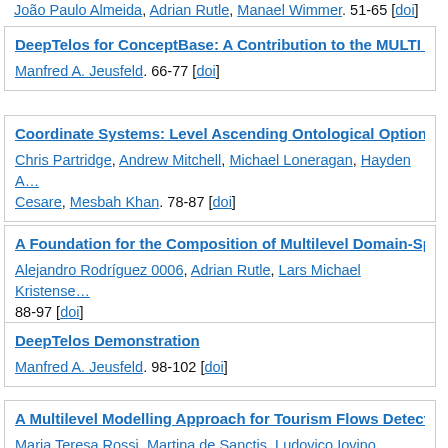João Paulo Almeida, Adrian Rutle, Manael Wimmer. 51-65 [doi]
DeepTelos for ConceptBase: A Contribution to the MULTI P…
Manfred A. Jeusfeld. 66-77 [doi]
Coordinate Systems: Level Ascending Ontological Options…
Chris Partridge, Andrew Mitchell, Michael Loneragan, Hayden A… Cesare, Mesbah Khan. 78-87 [doi]
A Foundation for the Composition of Multilevel Domain-Spe…
Alejandro Rodríguez 0006, Adrian Rutle, Lars Michael Kristense… 88-97 [doi]
DeepTelos Demonstration
Manfred A. Jeusfeld. 98-102 [doi]
A Multilevel Modelling Approach for Tourism Flows Detectio…
Maria Teresa Rossi, Martina de Sanctis, Ludovico Iovino, Adrian…